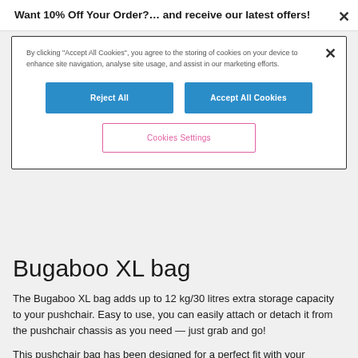Want 10% Off Your Order?… and receive our latest offers!
By clicking "Accept All Cookies", you agree to the storing of cookies on your device to enhance site navigation, analyse site usage, and assist in our marketing efforts.
Reject All
Accept All Cookies
Cookies Settings
Bugaboo XL bag
The Bugaboo XL bag adds up to 12 kg/30 litres extra storage capacity to your pushchair. Easy to use, you can easily attach or detach it from the pushchair chassis as you need — just grab and go!
This pushchair bag has been designed for a perfect fit with your pushchair, staying neatly out of the way — no more bulky carriers hanging on the handlebar and bumping into